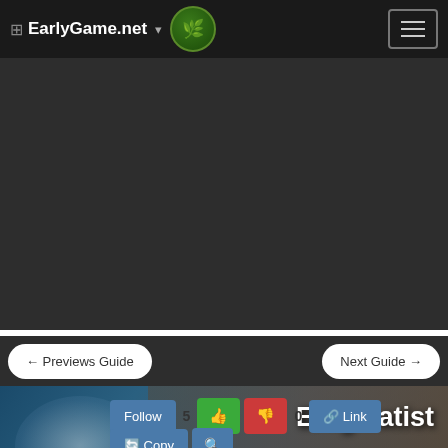EarlyGame.net
[Figure (screenshot): Dark advertisement/banner area]
← Previews Guide
Next Guide →
[Figure (illustration): Enigmatist game character banner with beast/creature background]
Enigmatist
Kanyo's Enigmatist Guide
auramancy
dps  pve  pvp  shadowplay  sorcery
Guide by kanyo Last update at Sep 12th 2019, 15:38
Follow  5  👍  👎  0  🔗 Link
🔄 Copy  🔍